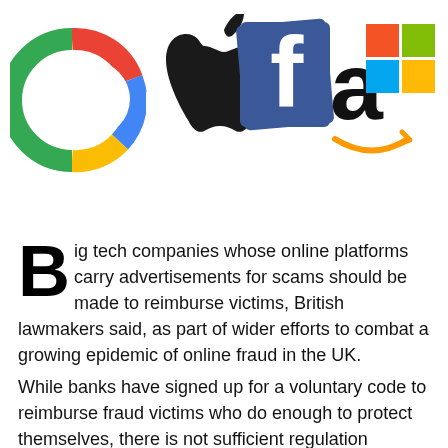[Figure (logo): Tech company logos: Google, Apple, Facebook, Amazon, Microsoft arranged in a row]
Big tech companies whose online platforms carry advertisements for scams should be made to reimburse victims, British lawmakers said, as part of wider efforts to combat a growing epidemic of online fraud in the UK.
While banks have signed up for a voluntary code to reimburse fraud victims who do enough to protect themselves, there is not sufficient regulation governing